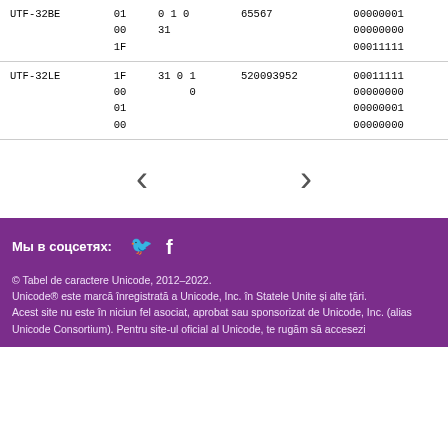| Encoding | Bytes | Code Units | Code Point | Binary |
| --- | --- | --- | --- | --- |
| UTF-32BE | 01
00
1F | 0 1 0
31 | 65567 | 00000001
00000000
00011111 |
| UTF-32LE | 1F
00
01
00 | 31 0 1
0 | 520093952 | 00011111
00000000
00000001
00000000 |
Мы в соцсетях:
© Tabel de caractere Unicode, 2012–2022.
Unicode® este marcă înregistrată a Unicode, Inc. în Statele Unite și alte țări.
Acest site nu este în niciun fel asociat, aprobat sau sponsorizat de Unicode, Inc. (alias Unicode Consortium). Pentru site-ul oficial al Unicode, te rugăm să accesezi